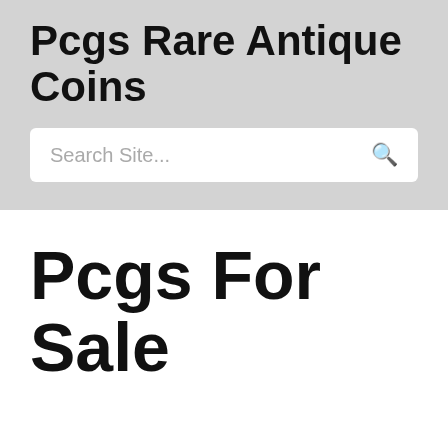Pcgs Rare Antique Coins
Search Site...
Pcgs For Sale